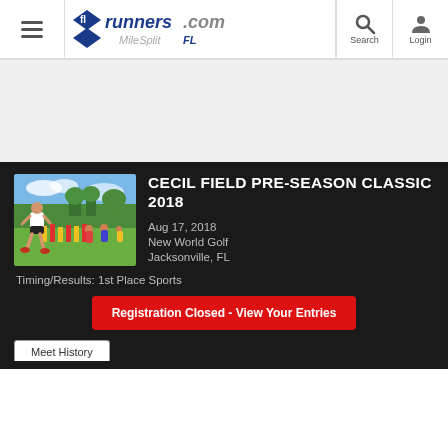flrunners.com MileSplit FL — Search | Login
[Figure (photo): Outdoor cross country race photo: a male runner in white singlet and black shorts runs on a grass field with colorful flags in the background.]
Cecil Field Pre-Season Classic 2018
Aug 17, 2018
New World Golf
Jacksonville, FL
Timing/Results: 1st Place Sports
Registration Closed - View Your Entries
Meet History